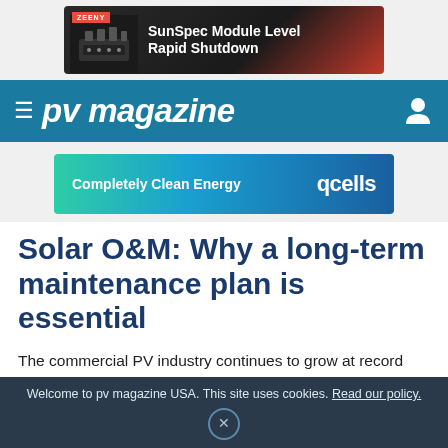[Figure (photo): ZEENY branded advertisement banner showing a solar connector device with text 'SunSpec Module Level Rapid Shutdown' on a dark background with red accents]
≡ pv magazine
[Figure (photo): Qcells advertisement banner with gradient background from teal to blue, text 'Completely Clean Energy' on left and 'qcells' logo on right]
Solar O&M: Why a long-term maintenance plan is essential
The commercial PV industry continues to grow at record rates and shows every indication that it will
Welcome to pv magazine USA. This site uses cookies. Read our policy.